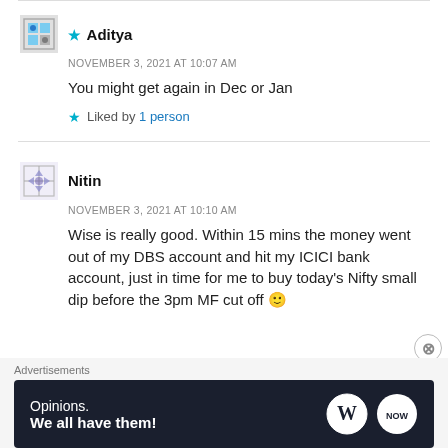★ Aditya
NOVEMBER 3, 2021 AT 10:07 AM
You might get again in Dec or Jan
★ Liked by 1 person
Nitin
NOVEMBER 3, 2021 AT 10:10 AM
Wise is really good. Within 15 mins the money went out of my DBS account and hit my ICICI bank account, just in time for me to buy today's Nifty small dip before the 3pm MF cut off 🙂
Advertisements
[Figure (other): WordPress advertisement banner with text 'Opinions. We all have them!' and WordPress and NOW logos on dark navy background]